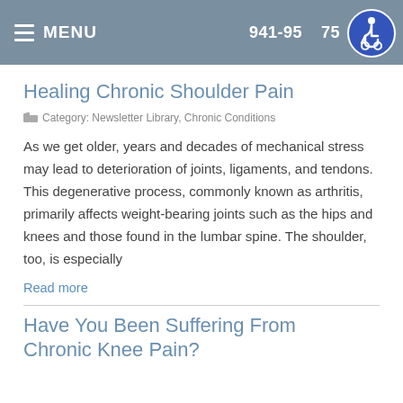MENU   941-95…75
Healing Chronic Shoulder Pain
Category: Newsletter Library, Chronic Conditions
As we get older, years and decades of mechanical stress may lead to deterioration of joints, ligaments, and tendons. This degenerative process, commonly known as arthritis, primarily affects weight-bearing joints such as the hips and knees and those found in the lumbar spine. The shoulder, too, is especially
Read more
Have You Been Suffering From Chronic Knee Pain?